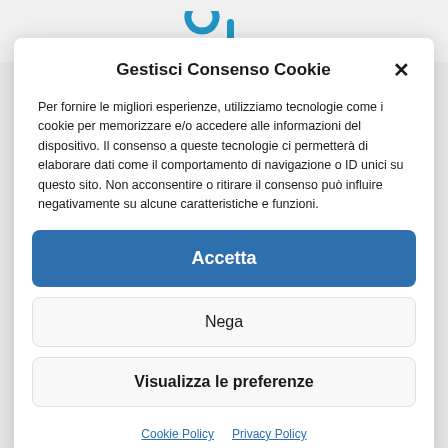[Figure (screenshot): Top bar of a website with teal/blue icon elements visible]
Gestisci Consenso Cookie
Per fornire le migliori esperienze, utilizziamo tecnologie come i cookie per memorizzare e/o accedere alle informazioni del dispositivo. Il consenso a queste tecnologie ci permetterà di elaborare dati come il comportamento di navigazione o ID unici su questo sito. Non acconsentire o ritirare il consenso può influire negativamente su alcune caratteristiche e funzioni.
Accetta
Nega
Visualizza le preferenze
Cookie Policy   Privacy Policy